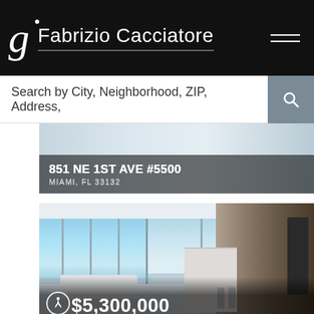Fabrizio Cacciatore
Search by City, Neighborhood, ZIP, Address,
851 NE 1ST AVE #5500
MIAMI, FL 33132
[Figure (photo): Luxury condominium interior showing open-plan living room and kitchen with floor-to-ceiling windows and ocean views]
$5,300,000